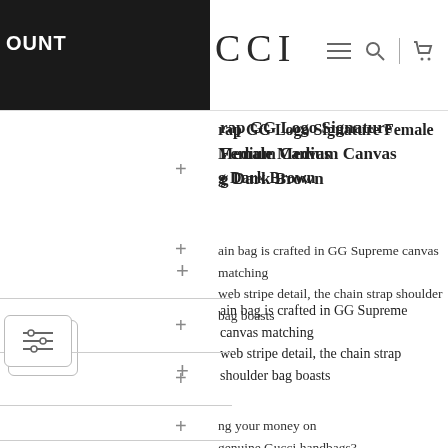OUNT  CCI
rap GG Logo Signature Female Medium Canvas g Dark Brown
ain bag is crafted in GG Supreme canvas matching web stripe detail, the chain strap shoulder bag boasts
ng your money on genuine Gucci handbags? Although e able to afford to buy genuine Gucci bags, you should ng replica Gucci GG Marmont bags. On this pa ook at why buying faux Gucci handbags is the w
aking a look at the best site for fake Gucci GG